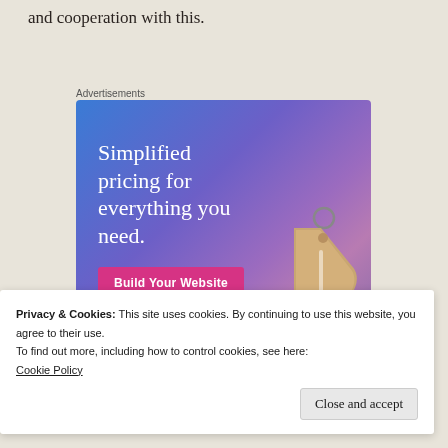and cooperation with this.
Advertisements
[Figure (illustration): Advertisement banner with gradient blue-purple background showing 'Simplified pricing for everything you need.' headline, a pink 'Build Your Website' button, and a 3D price tag graphic on the right side.]
Privacy & Cookies: This site uses cookies. By continuing to use this website, you agree to their use.
To find out more, including how to control cookies, see here:
Cookie Policy